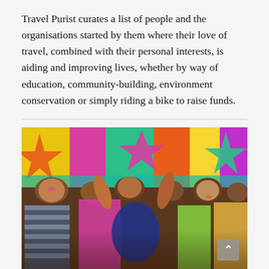Travel Purist curates a list of people and the organisations started by them where their love of travel, combined with their personal interests, is aiding and improving lives, whether by way of education, community-building, environment conservation or simply riding a bike to raise funds.
[Figure (photo): Group of children and adults smiling and waving in front of a colorful mural with bright geometric patterns in yellow, magenta, teal, and orange. Some children have colored paint on their faces. People are wearing casual clothing including a striped shirt, pink top, blue hijab, and yellow outfit. Two adults in baseball caps are visible in the background.]